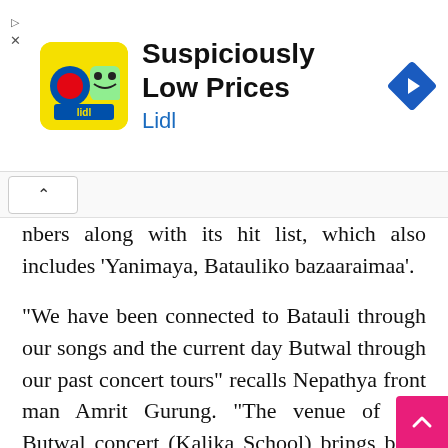[Figure (screenshot): Lidl advertisement banner with yellow logo, 'Suspiciously Low Prices' heading, and 'Lidl' subtitle in blue, with a blue navigation arrow diamond icon on the right. Close/back arrows on the left side.]
nbers along with its hit list, which also includes ‘Yanimaya, Batauliko bazaaraimaa’.
“We have been connected to Batauli through our songs and the current day Butwal through our past concert tours” recalls Nepathya front man Amrit Gurung. “The venue of our Butwal concert (Kalika School) brings back nostalgia to me. During the conflict time, we had toured the nation as part of our Sundar Shanta Nepal, Travelling Peace Concert. In 2003, we had performed in Butwal at Ka